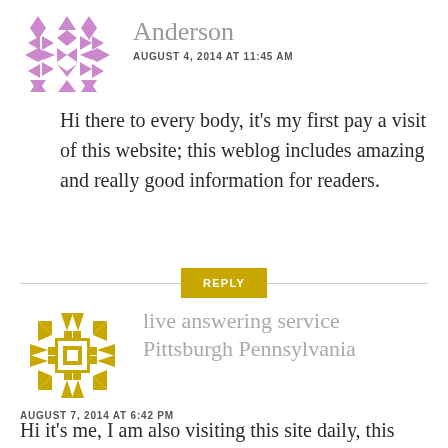[Figure (illustration): Purple geometric snowflake/quilt pattern avatar for user Anderson]
Anderson
AUGUST 4, 2014 AT 11:45 AM
Hi there to every body, it's my first pay a visit of this website; this weblog includes amazing and really good information for readers.
REPLY
[Figure (illustration): Gold/yellow geometric snowflake pattern avatar for user live answering service Pittsburgh Pennsylvania]
live answering service Pittsburgh Pennsylvania
AUGUST 7, 2014 AT 6:42 PM
Hi it's me, I am also visiting this site daily, this